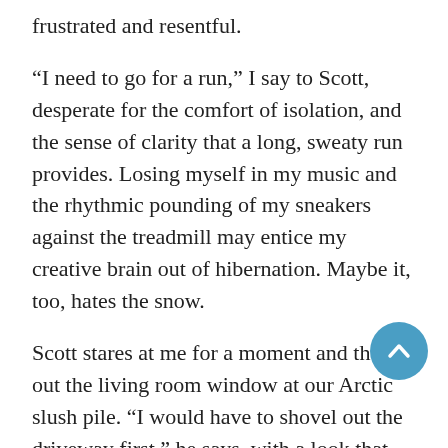frustrated and resentful.
“I need to go for a run,” I say to Scott, desperate for the comfort of isolation, and the sense of clarity that a long, sweaty run provides. Losing myself in my music and the rhythmic pounding of my sneakers against the treadmill may entice my creative brain out of hibernation. Maybe it, too, hates the snow.
Scott stares at me for a moment and then out the living room window at our Arctic slush pile. “I would have to shovel out the driveway first,” he says, with a look that tells me that’s exactly what he’s not going to do. And how can I blame him? He’s already handled two temper tantrums